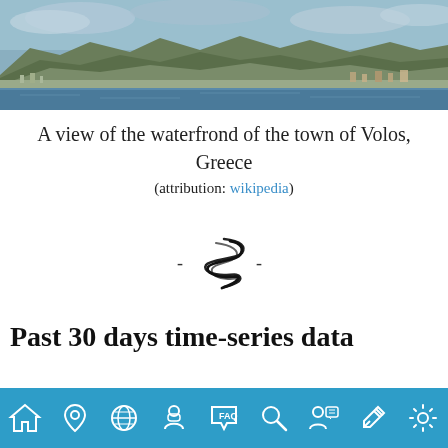[Figure (photo): A panoramic photograph of the waterfront of the town of Volos, Greece, showing mountains in the background, harbor and sea in the foreground, under a cloudy sky.]
A view of the waterfrond of the town of Volos, Greece
(attribution: wikipedia)
[Figure (illustration): A tornado/cyclone icon with dashes on either side: - tornado -]
Past 30 days time-series data
[Figure (other): Bottom navigation bar with icons: home, location pin, globe, person with mask, FAQ/chat, search/magnifier, person with speech bubble, link/pencil, settings/gear]